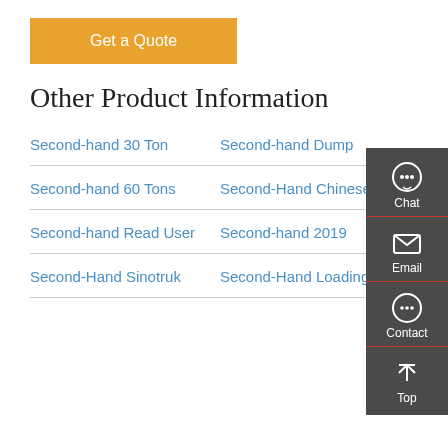[Figure (other): Orange 'Get a Quote' button]
Other Product Information
Second-hand 30 Ton
Second-hand Dump
Second-hand 60 Tons
Second-Hand Chinese
Second-hand Read User
Second-hand 2019
Second-Hand Sinotruk
Second-Hand Loading
[Figure (infographic): Dark sidebar with Chat, Email, Contact, and Top icons]